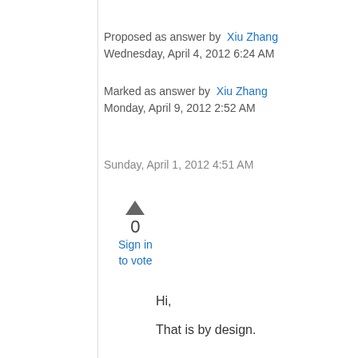Proposed as answer by  Xiu Zhang
Wednesday, April 4, 2012 6:24 AM
Marked as answer by  Xiu Zhang
Monday, April 9, 2012 2:52 AM
Sunday, April 1, 2012 4:51 AM
[Figure (other): Blue checkbox with white checkmark, upward triangle vote button, vote count 0, and Sign in to vote link]
Hi,
That is by design.